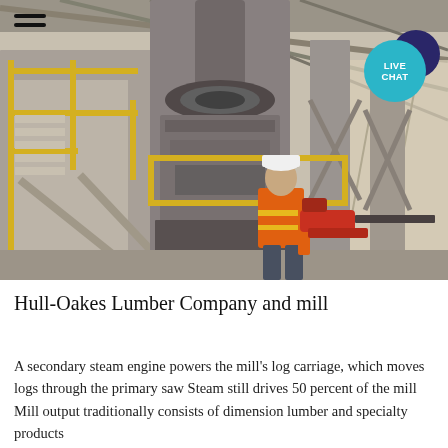[Figure (photo): Interior of an industrial lumber mill showing a large central machine/press with yellow safety railings on metal staircases/platforms, concrete structure, a worker in orange high-visibility vest and white hard hat standing in the foreground holding a chainsaw, industrial ceiling with metal beams visible above.]
Hull-Oakes Lumber Company and mill
A secondary steam engine powers the mill's log carriage, which moves logs through the primary saw Steam still drives 50 percent of the mill Mill output traditionally consists of dimension lumber and specialty products